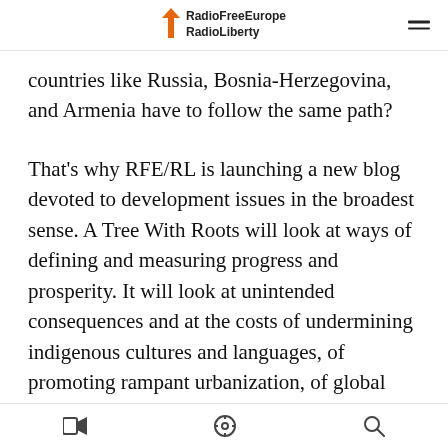RadioFreeEurope RadioLiberty
countries like Russia, Bosnia-Herzegovina, and Armenia have to follow the same path?
That's why RFE/RL is launching a new blog devoted to development issues in the broadest sense. A Tree With Roots will look at ways of defining and measuring progress and prosperity. It will look at unintended consequences and at the costs of undermining indigenous cultures and languages, of promoting rampant urbanization, of global consumerism.
Just recently, British Prime Minister David Cameron